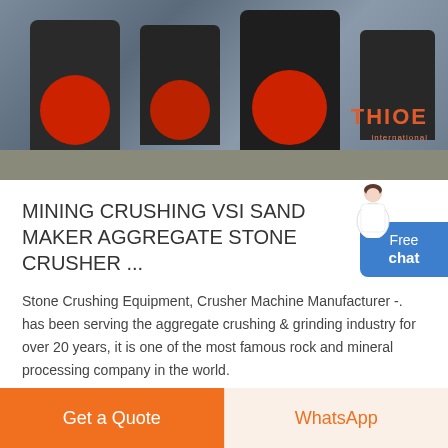[Figure (photo): Industrial stone crusher / VSI sand maker machinery in a factory setting. Multiple large dark machines with red wheels/rotors on a concrete floor. THIOE brand watermark visible in orange-red text on the right side.]
MINING CRUSHING VSI SAND MAKER AGGREGATE STONE CRUSHER ...
Stone Crushing Equipment, Crusher Machine Manufacturer -. has been serving the aggregate crushing & grinding industry for over 20 years, it is one of the most famous rock and mineral processing company in the world.
READ MORE...
Get a Quote
WhatsApp